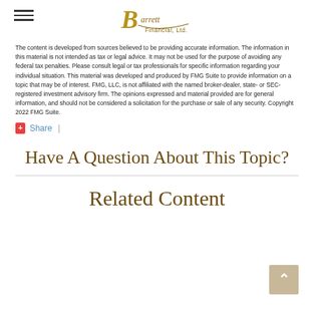Barrett Financial, Ltd. logo and navigation
The content is developed from sources believed to be providing accurate information. The information in this material is not intended as tax or legal advice. It may not be used for the purpose of avoiding any federal tax penalties. Please consult legal or tax professionals for specific information regarding your individual situation. This material was developed and produced by FMG Suite to provide information on a topic that may be of interest. FMG, LLC, is not affiliated with the named broker-dealer, state- or SEC-registered investment advisory firm. The opinions expressed and material provided are for general information, and should not be considered a solicitation for the purchase or sale of any security. Copyright 2022 FMG Suite.
+ Share  |
Have A Question About This Topic?
Related Content